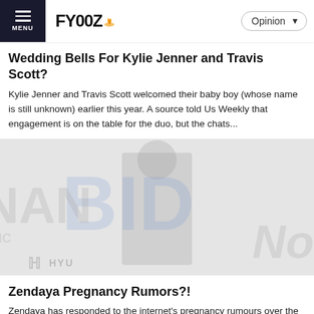MENU | FYOOZ | Opinion
Wedding Bells For Kylie Jenner and Travis Scott?
Kylie Jenner and Travis Scott welcomed their baby boy (whose name is still unknown) earlier this year. A source told Us Weekly that engagement is on the table for the duo, but the chats...
[Figure (photo): Watermarked celebrity photo with BID watermark in blue and red, HAN text on left, Hyundai logo bottom left, and No text on right]
Zendaya Pregnancy Rumors?!
Zendaya has responded to the internet's pregnancy rumours over the past few weeks. A couple of TikTok videos went viral...